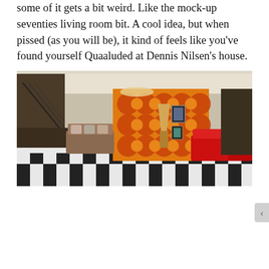some of it gets a bit weird. Like the mock-up seventies living room bit. A cool idea, but when pissed (as you will be), it kind of feels like you've found yourself Quaaluded at Dennis Nilsen's house.
[Figure (photo): Interior photo of a seventies-style mock living room with checkered black-and-white floor, orange floral-patterned wallpaper, red sofas on the right, and sofas with cushions on the left.]
Privacy & Cookies: This site uses cookies. By continuing to use this website, you agree to their use.
To find out more, including how to control cookies, see here: Cookie Policy
Close and accept